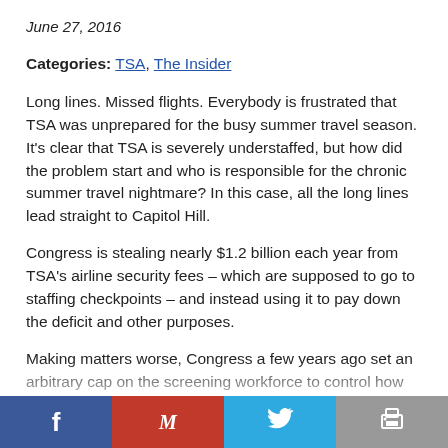June 27, 2016
Categories: TSA, The Insider
Long lines. Missed flights. Everybody is frustrated that TSA was unprepared for the busy summer travel season. It’s clear that TSA is severely understaffed, but how did the problem start and who is responsible for the chronic summer travel nightmare? In this case, all the long lines lead straight to Capitol Hill.
Congress is stealing nearly $1.2 billion each year from TSA’s airline security fees – which are supposed to go to staffing checkpoints – and instead using it to pay down the deficit and other purposes.
Making matters worse, Congress a few years ago set an arbitrary cap on the screening workforce to control how many TSA officers the agency can hire. This illogical cap on ... is either bad at understanding the laws of supply and